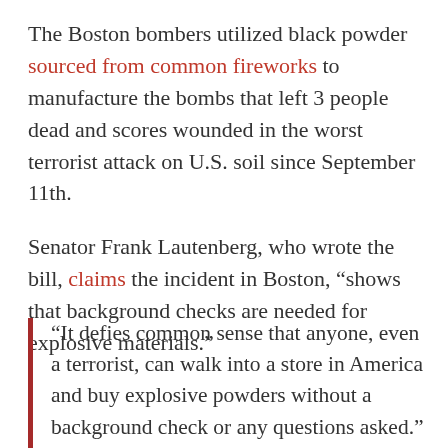The Boston bombers utilized black powder sourced from common fireworks to manufacture the bombs that left 3 people dead and scores wounded in the worst terrorist attack on U.S. soil since September 11th.
Senator Frank Lautenberg, who wrote the bill, claims the incident in Boston, “shows that background checks are needed for explosive materials.”
“It defies common sense that anyone, even a terrorist, can walk into a store in America and buy explosive powders without a background check or any questions asked.” “Requiring a background check for an explosives permit is a small price to pay to ensure the